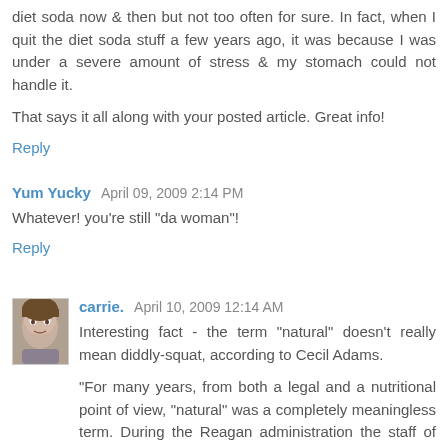diet soda now & then but not too often for sure. In fact, when I quit the diet soda stuff a few years ago, it was because I was under a severe amount of stress & my stomach could not handle it.
That says it all along with your posted article. Great info!
Reply
Yum Yucky  April 09, 2009 2:14 PM
Whatever! you're still "da woman"!
Reply
carrie.  April 10, 2009 12:14 AM
Interesting fact - the term "natural" doesn't really mean diddly-squat, according to Cecil Adams.
"For many years, from both a legal and a nutritional point of view, "natural" was a completely meaningless term. During the Reagan administration the staff of the Federal Trade